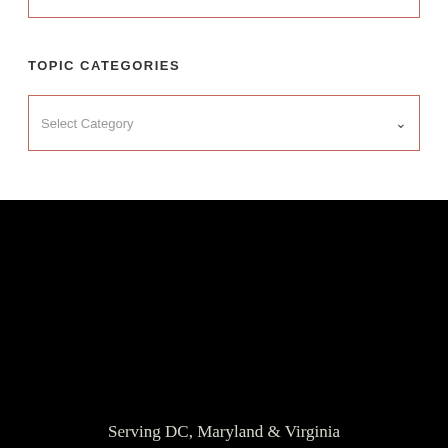TOPIC CATEGORIES
Select Category
Serving DC, Maryland & Virginia
HOME
ABOUT
PORTFOLIO & PRAISE
BLOG
PRESS